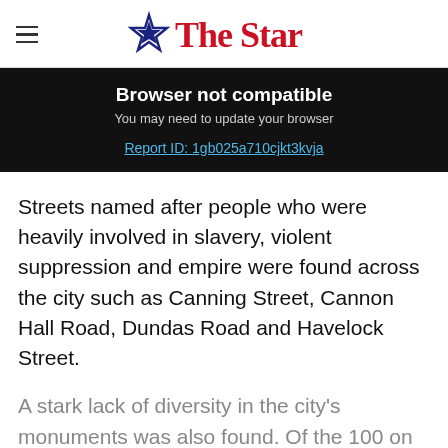The Star
Browser not compatible
You may need to update your browser
Report ID: 1gb025a710cjkt3kvja
Streets named after people who were heavily involved in slavery, violent suppression and empire were found across the city such as Canning Street, Cannon Hall Road, Dundas Road and Havelock Street.
A stark lack of diversity in the city's monuments was also found. Of the 100 on the council's